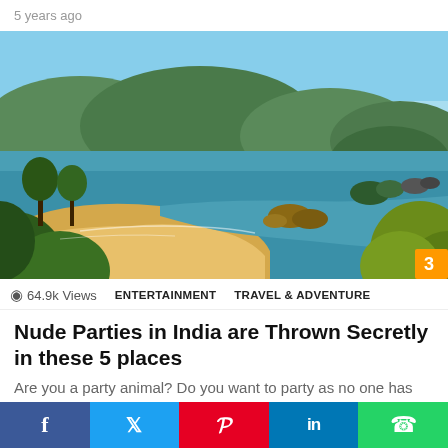5 years ago
[Figure (photo): Aerial coastal view of a sandy beach with turquoise sea, green forested hills, and rocky outcrops — likely Goa, India]
64.9k Views   ENTERTAINMENT   TRAVEL & ADVENTURE
Nude Parties in India are Thrown Secretly in these 5 places
Are you a party animal? Do you want to party as no one has